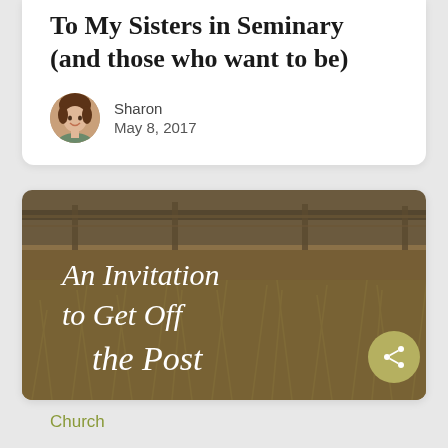To My Sisters in Seminary (and those who want to be)
Sharon
May 8, 2017
[Figure (illustration): Photograph of dry golden grass/hay field with a fence in the background, overlaid with white cursive script text reading 'An Invitation to Get Off the Post']
Church